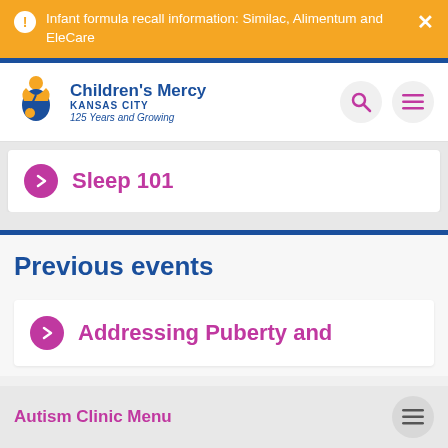Infant formula recall information: Similac, Alimentum and EleCare
[Figure (logo): Children's Mercy Kansas City logo with figure icon, text: Children's Mercy KANSAS CITY 125 Years and Growing]
Sleep 101
Previous events
Addressing Puberty and
Autism Clinic Menu